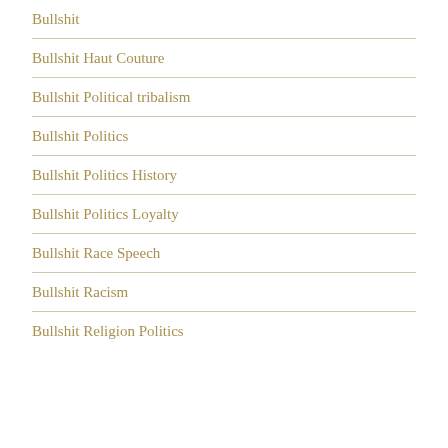Bullshit
Bullshit Haut Couture
Bullshit Political tribalism
Bullshit Politics
Bullshit Politics History
Bullshit Politics Loyalty
Bullshit Race Speech
Bullshit Racism
Bullshit Religion Politics